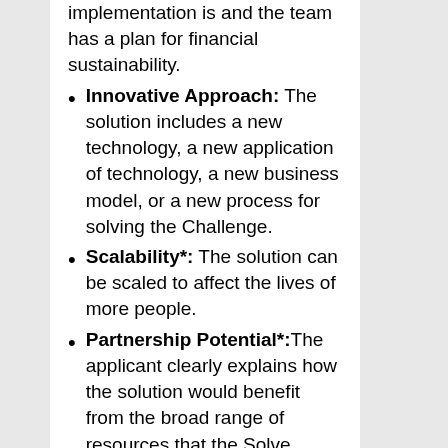implementation is and the team has a plan for financial sustainability.
Innovative Approach: The solution includes a new technology, a new application of technology, a new business model, or a new process for solving the Challenge.
Scalability*: The solution can be scaled to affect the lives of more people.
Partnership Potential*:The applicant clearly explains how the solution would benefit from the broad range of resources that the Solve community is positioned to provide.